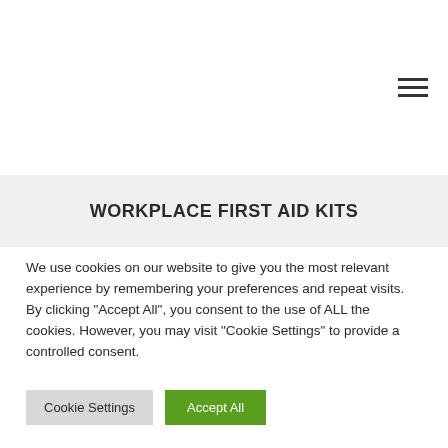[Figure (other): Hamburger menu icon (three horizontal lines) in top-right area]
WORKPLACE FIRST AID KITS
We use cookies on our website to give you the most relevant experience by remembering your preferences and repeat visits. By clicking "Accept All", you consent to the use of ALL the cookies. However, you may visit "Cookie Settings" to provide a controlled consent.
Cookie Settings | Accept All